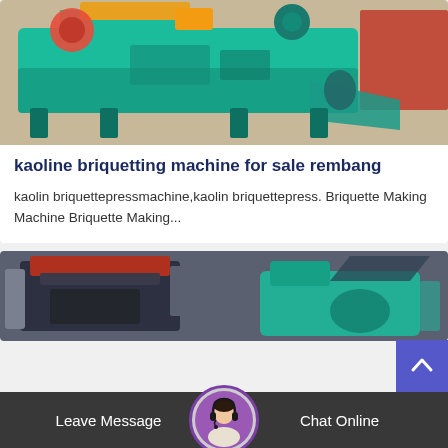[Figure (photo): Teal/green large industrial briquetting machine in a factory setting]
kaoline briquetting machine for sale rembang
kaolin briquettepressmachine,kaolin briquettepress. Briquette Making Machine Briquette Making...
[Figure (photo): Industrial machines in a factory — two machines visible side by side, partially cut off]
Leave Message  Chat Online